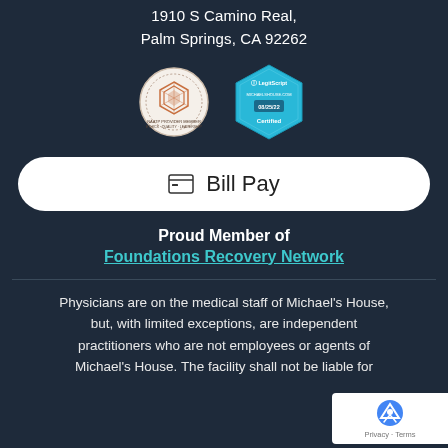1910 S Camino Real,
Palm Springs, CA 92262
[Figure (logo): NAATP Provider Member badge (circular, orange hexagon design) and LegitScript certified badge (blue hexagon shape, michaelshouse.com, 08/25/22, Certified)]
Bill Pay
Proud Member of
Foundations Recovery Network
Physicians are on the medical staff of Michael's House, but, with limited exceptions, are independent practitioners who are not employees or agents of Michael's House. The facility shall not be liable for